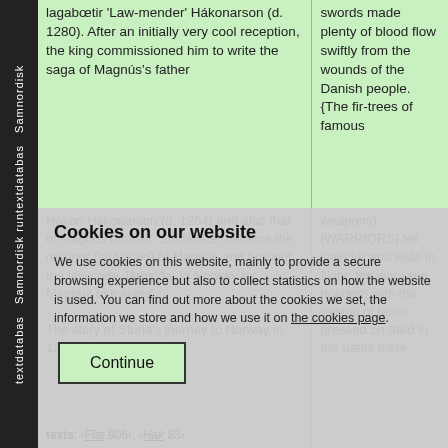Samnordisk textdatabas Samnordisk runtextdatabas
lagabœtir 'Law-mender' Hákonarson (d. 1280). After an initially very cool reception, the king commissioned him to write the saga of Magnús's father
swords made plenty of blood flow swiftly from the wounds of the Danish people. {The fir-trees of famous weapons} [WARRIORS] fell slain far and wide in flight; the war-{and, hooded} with the helmet of terror, pressed on hard in the battle there.
Hákon Hákonarson (d. 1264) and also that of Magnús himself. Sturla later became the retainer (hirðskáld) of Magnús and brought the law code Járnsíða, in Norway for Magnús to Iceland.
Cookies on our website
We use cookies on this website, mainly to provide a secure browsing experience but also to collect statistics on how the website is used. You can find out more about the cookies we set, the information we store and how we use it on the cookies page.
The story of Sturla's journey to Norway in 1263 and his
texts: ‹Flat 906›, ‹Hak 83›